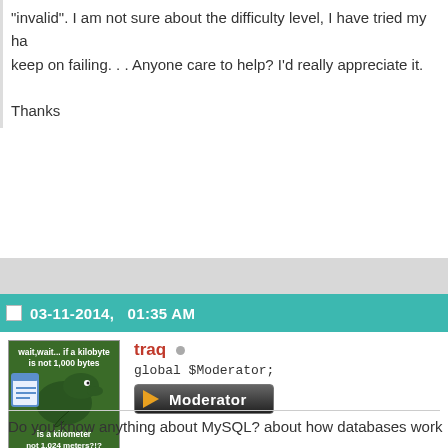'invalid'. I am not sure about the difficulty level, I have tried my ha... keep on failing. . . Anyone care to help? I'd really appreciate it.

Thanks
03-11-2014,   01:35 AM
[Figure (illustration): Philosoraptor meme: dinosaur with text 'wait,wait... if a kilobyte is not 1,000 bytes is a kilometer not 1,024 meters?!?']
traq
global $Moderator;
Moderator
[Figure (screenshot): Document/notepad icon in blue]
Do you know anything about MySQL? about how databases work
Your question is unclear. When you design a database table, you n what information you need to store. From there, you can decide w need, and how to query them.